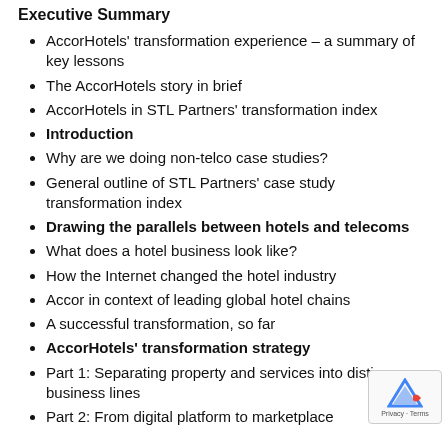Executive Summary
AccorHotels' transformation experience – a summary of key lessons
The AccorHotels story in brief
AccorHotels in STL Partners' transformation index
Introduction
Why are we doing non-telco case studies?
General outline of STL Partners' case study transformation index
Drawing the parallels between hotels and telecoms
What does a hotel business look like?
How the Internet changed the hotel industry
Accor in context of leading global hotel chains
A successful transformation, so far
AccorHotels' transformation strategy
Part 1: Separating property and services into distinct business lines
Part 2: From digital platform to marketplace